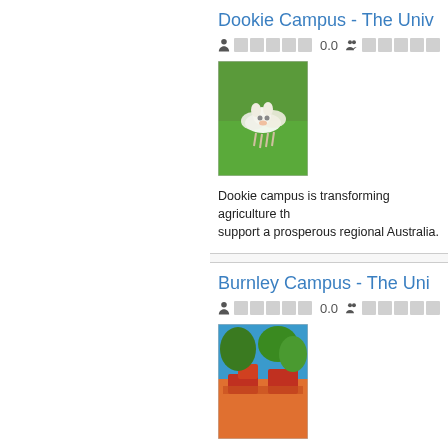Dookie Campus - The Univ
Rating: 0.0
[Figure (photo): Two white lambs standing on green grass field]
Dookie campus is transforming agriculture th support a prosperous regional Australia.
Burnley Campus - The Uni
Rating: 0.0
[Figure (photo): Aerial or ground view of Burnley campus with red garden beds, green trees, and blue sky]
Burnley College is focused on environmental field research and demonstration area, graph
Thebarton Campus - The U